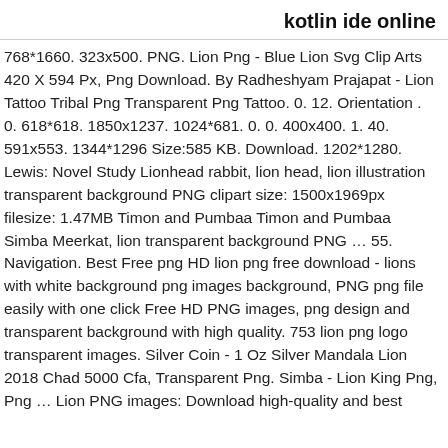kotlin ide online
768*1660. 323x500. PNG. Lion Png - Blue Lion Svg Clip Arts 420 X 594 Px, Png Download. By Radheshyam Prajapat - Lion Tattoo Tribal Png Transparent Png Tattoo. 0. 12. Orientation . 0. 618*618. 1850x1237. 1024*681. 0. 0. 400x400. 1. 40. 591x553. 1344*1296 Size:585 KB. Download. 1202*1280. Lewis: Novel Study Lionhead rabbit, lion head, lion illustration transparent background PNG clipart size: 1500x1969px filesize: 1.47MB Timon and Pumbaa Timon and Pumbaa Simba Meerkat, lion transparent background PNG … 55. Navigation. Best Free png HD lion png free download - lions with white background png images background, PNG png file easily with one click Free HD PNG images, png design and transparent background with high quality. 753 lion png logo transparent images. Silver Coin - 1 Oz Silver Mandala Lion 2018 Chad 5000 Cfa, Transparent Png. Simba - Lion King Png, Png … Lion PNG images: Download high-quality and best